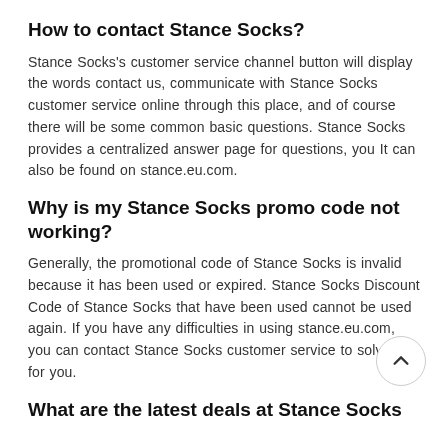How to contact Stance Socks?
Stance Socks's customer service channel button will display the words contact us, communicate with Stance Socks customer service online through this place, and of course there will be some common basic questions. Stance Socks provides a centralized answer page for questions, you It can also be found on stance.eu.com.
Why is my Stance Socks promo code not working?
Generally, the promotional code of Stance Socks is invalid because it has been used or expired. Stance Socks Discount Code of Stance Socks that have been used cannot be used again. If you have any difficulties in using stance.eu.com, you can contact Stance Socks customer service to solve it for you.
What are the latest deals at Stance Socks